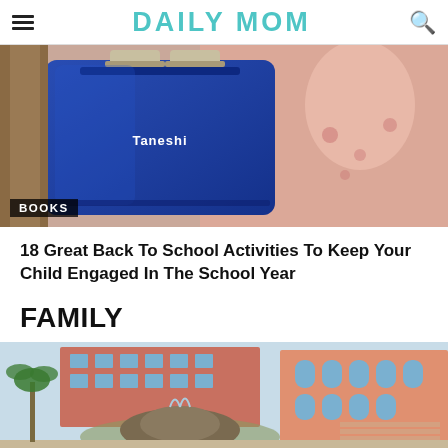DAILY MOM
[Figure (photo): A blue Taneshi laptop bag being held by a woman in a floral pink top. The image has a 'BOOKS' label overlay in the bottom left corner.]
18 Great Back To School Activities To Keep Your Child Engaged In The School Year
FAMILY
[Figure (photo): A resort or hotel complex with salmon/pink colored buildings, a large decorative fountain area with rock formations, palm trees, and staircases.]